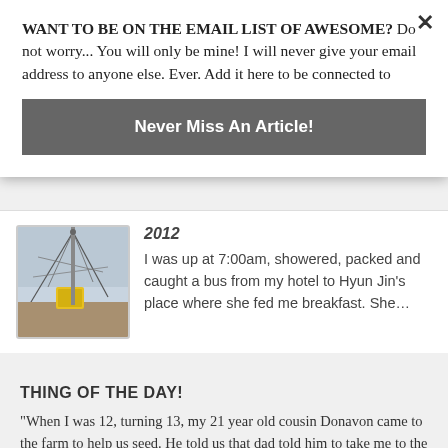WANT TO BE ON THE EMAIL LIST OF AWESOME? Do not worry... You will only be mine! I will never give your email address to anyone else. Ever. Add it here to be connected to
Never Miss An Article!
2012
[Figure (photo): A sailboat deck with rigging ropes and a yellow container, stormy or misty background]
I was up at 7:00am, showered, packed and caught a bus from my hotel to Hyun Jin's place where she fed me breakfast. She…
THING OF THE DAY!
“When I was 12, turning 13, my 21 year old cousin Donavon came to the farm to help us seed. He told us that dad told him to take me to the USA for the afternoon so that I could get